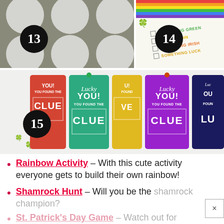[Figure (photo): Collage of three numbered activity images: #13 shows white circles/dots on grey background, #14 shows a St. Patrick's Day checklist with items like 'Something Green', 'A Gold Coin', 'Something Irish', 'Something Lucky', #15 shows colorful 'Lucky You! You Found the Clue' cards in red, teal, yellow, purple, and navy.]
Rainbow Activity – With this cute activity everyone gets to build their own rainbow!
Shamrock Hunt – Will you be the shamrock champion?
St. Patrick's Day Game – Watch out for...